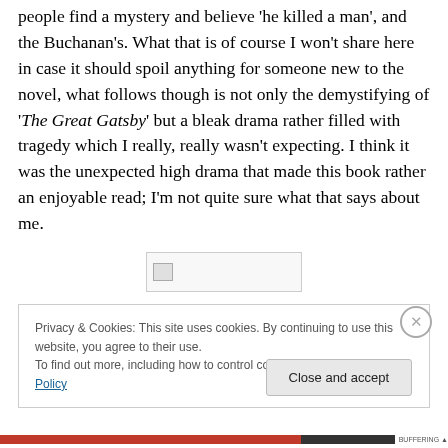people find a mystery and believe 'he killed a man', and the Buchanan's. What that is of course I won't share here in case it should spoil anything for someone new to the novel, what follows though is not only the demystifying of 'The Great Gatsby' but a bleak drama rather filled with tragedy which I really, really wasn't expecting. I think it was the unexpected high drama that made this book rather an enjoyable read; I'm not quite sure what that says about me.
[Figure (other): Broken/missing image placeholder (small rectangle with image icon)]
Privacy & Cookies: This site uses cookies. By continuing to use this website, you agree to their use.
To find out more, including how to control cookies, see here: Cookie Policy
Close and accept